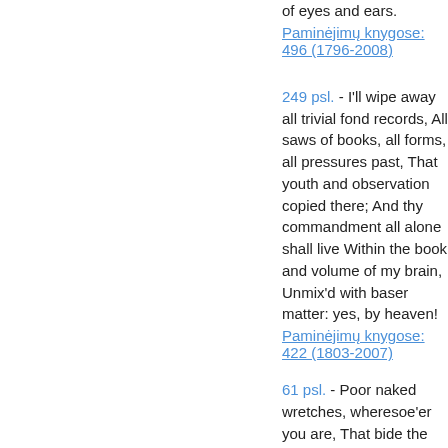of eyes and ears.
Paminėjimų knygose: 496 (1796-2008)
249 psl. - I'll wipe away all trivial fond records, All saws of books, all forms, all pressures past, That youth and observation copied there; And thy commandment all alone shall live Within the book and volume of my brain, Unmix'd with baser matter: yes, by heaven!
Paminėjimų knygose: 422 (1803-2007)
61 psl. - Poor naked wretches, wheresoe'er you are, That bide the pelting of this pitiless storm, How shall your